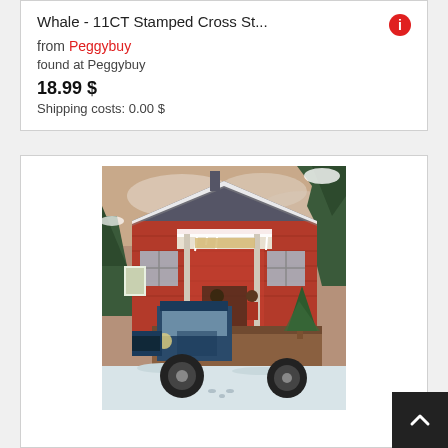Whale - 11CT Stamped Cross St...
from Peggybuy
found at Peggybuy
18.99 $
Shipping costs: 0.00 $
[Figure (illustration): Cross stitch artwork showing a vintage blue truck parked in front of a red brick building covered in snow, with Christmas trees in the background and figures loading the truck.]